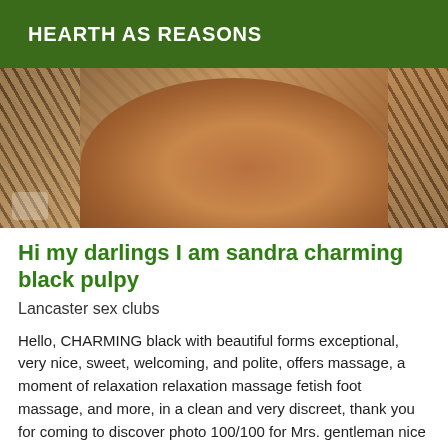HEARTH AS REASONS
[Figure (photo): Close-up photo showing skin and leopard-print fabric]
Hi my darlings I am sandra charming black pulpy
Lancaster sex clubs
Hello, CHARMING black with beautiful forms exceptional, very nice, sweet, welcoming, and polite, offers massage, a moment of relaxation relaxation massage fetish foot massage, and more, in a clean and very discreet, thank you for coming to discover photo 100/100 for Mrs. gentleman nice respectful I'm passing through for a few days receive PRIVATE APARTMENT